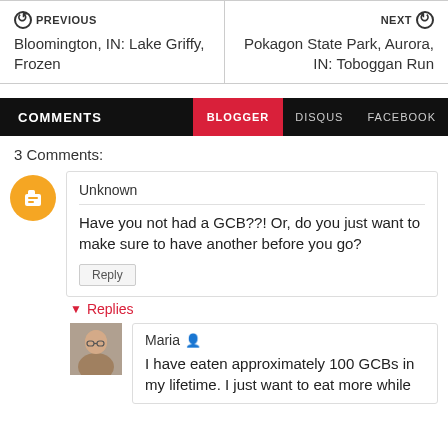PREVIOUS — Bloomington, IN: Lake Griffy, Frozen | NEXT — Pokagon State Park, Aurora, IN: Toboggan Run
COMMENTS | BLOGGER | DISQUS | FACEBOOK
3 Comments:
Unknown
Have you not had a GCB??! Or, do you just want to make sure to have another before you go?
Reply
Replies
Maria
I have eaten approximately 100 GCBs in my lifetime. I just want to eat more while